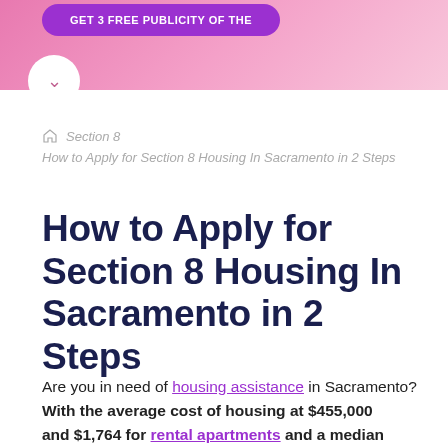[Figure (other): Pink gradient banner at top of page with a purple CTA button and a white circle button with chevron down icon]
Section 8
How to Apply for Section 8 Housing In Sacramento in 2 Steps
How to Apply for Section 8 Housing In Sacramento in 2 Steps
Are you in need of housing assistance in Sacramento? With the average cost of housing at $455,000 and $1,764 for rental apartments and a median